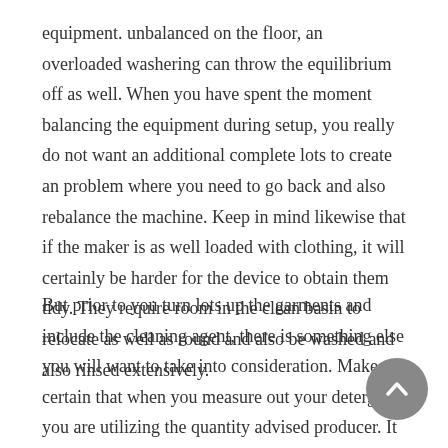equipment. unbalanced on the floor, an overloaded washering can throw the equilibrium off as well. When you have spent the moment balancing the equipment during setup, you really do not want an additional complete lots to create an problem where you need to go back and also rebalance the machine. Keep in mind likewise that if the maker is as well loaded with clothing, it will certainly be harder for the device to obtain them tidy. They require room in the clean basin to relocate as well as round and also be washed and also rinsed extensively.
But prior to you turn lots up the garments and include the cleaning agent, there is something else you will want to take into consideration. Make certain that when you measure out your detergent, you are utilizing the quantity advised producer. It is very easy to simply comply with the instructions on the container, but all washing machines are